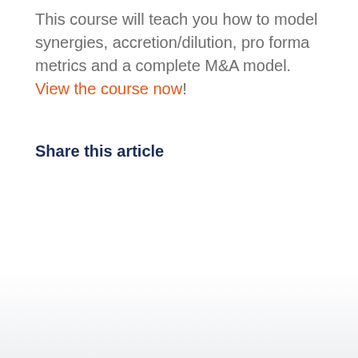This course will teach you how to model synergies, accretion/dilution, pro forma metrics and a complete M&A model. View the course now!
Share this article